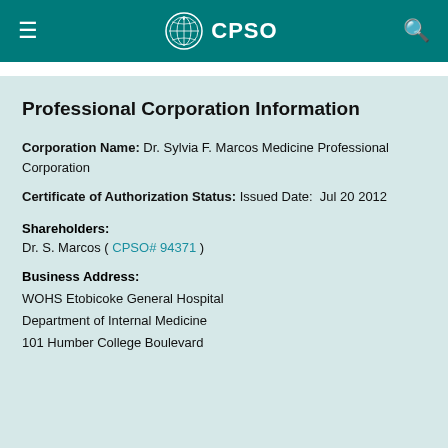CPSO
Professional Corporation Information
Corporation Name: Dr. Sylvia F. Marcos Medicine Professional Corporation
Certificate of Authorization Status: Issued Date:  Jul 20 2012
Shareholders:
Dr. S. Marcos ( CPSO# 94371 )
Business Address:
WOHS Etobicoke General Hospital
Department of Internal Medicine
101 Humber College Boulevard